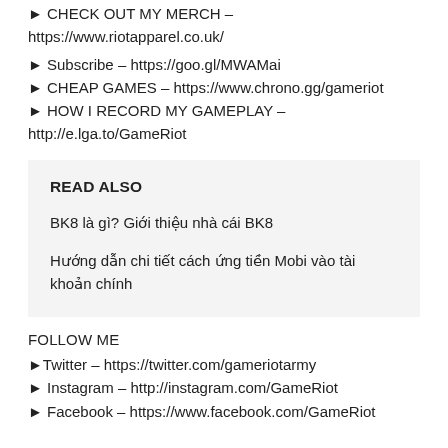► CHECK OUT MY MERCH – https://www.riotapparel.co.uk/
► Subscribe – https://goo.gl/MWAMai
► CHEAP GAMES – https://www.chrono.gg/gameriot
► HOW I RECORD MY GAMEPLAY – http://e.lga.to/GameRiot
READ ALSO
BK8 là gì? Giới thiệu nhà cái BK8
Hướng dẫn chi tiết cách ứng tiền Mobi vào tài khoản chính
FOLLOW ME
►Twitter – https://twitter.com/gameriotarmy
► Instagram – http://instagram.com/GameRiot
► Facebook – https://www.facebook.com/GameRiot